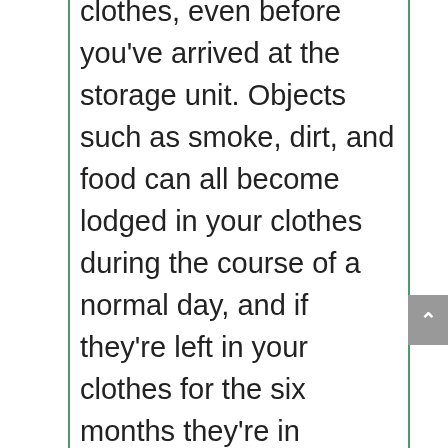clothes, even before you've arrived at the storage unit. Objects such as smoke, dirt, and food can all become lodged in your clothes during the course of a normal day, and if they're left in your clothes for the six months they're in storage, you might never be able to clean it properly again. Making sure the clothes are dry is also critical, though, as any damp clothes will be targeted by mold and mildew, which will likely destroy the clothes entirely. Plastic bins offer greater protection for your clothes than cardboard boxes, making them the superior clothes-storage devices, even if